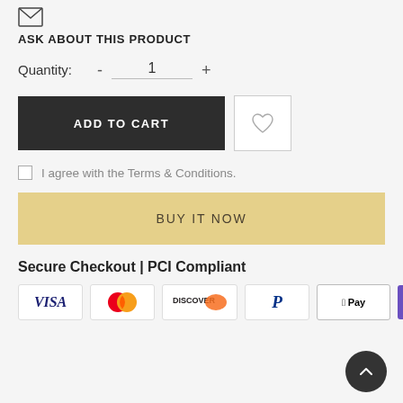[Figure (other): Email/envelope icon]
ASK ABOUT THIS PRODUCT
Quantity: - 1 +
[Figure (other): ADD TO CART button and wishlist heart icon button]
I agree with the Terms & Conditions.
[Figure (other): BUY IT NOW button]
Secure Checkout | PCI Compliant
[Figure (other): Payment method icons: VISA, Mastercard, Discover, PayPal, Apple Pay, G Pay]